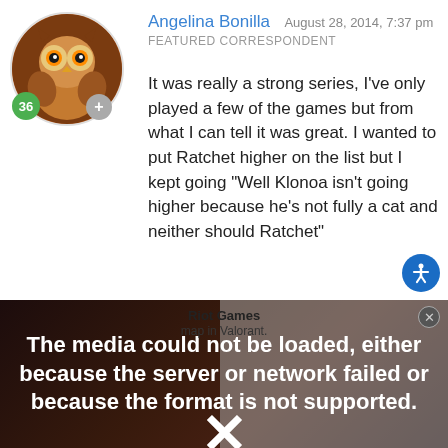Angelina Bonilla  August 28, 2014, 7:37 pm
FEATURED CORRESPONDENT
It was really a strong series, I've only played a few of the games but from what I can tell it was great. I wanted to put Ratchet higher on the list but I kept going "Well Klonoa isn't going higher because he's not fully a cat and neither should Ratchet"
[Figure (screenshot): Media player error overlay showing 'The media could not be loaded, either because the server or network failed or because the format is not supported.' with Riot Games label and X mark. Below are two face images side by side - animated character and real person.]